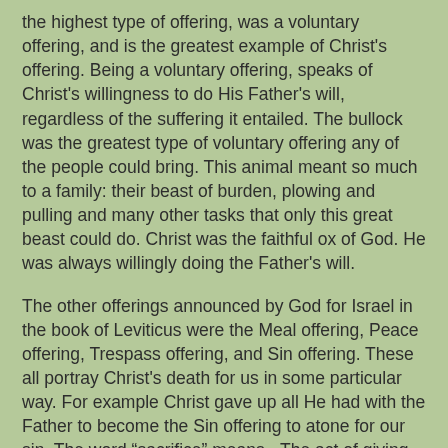the highest type of offering, was a voluntary offering, and is the greatest example of Christ's offering. Being a voluntary offering, speaks of Christ's willingness to do His Father's will, regardless of the suffering it entailed. The bullock was the greatest type of voluntary offering any of the people could bring. This animal meant so much to a family: their beast of burden, plowing and pulling and many other tasks that only this great beast could do. Christ was the faithful ox of God. He was always willingly doing the Father's will.
The other offerings announced by God for Israel in the book of Leviticus were the Meal offering, Peace offering, Trespass offering, and Sin offering. These all portray Christ's death for us in some particular way. For example Christ gave up all He had with the Father to become the Sin offering to atone for our sin. The word “sacrifice” means - The act of giving up something valued for the sake of something else more important. The Hebrew word used for sacrifice means, “A forfeiture, giving up, relinquishment, surrender or loss.” In Philippians 2:5-8, we read of the seven steps downward Christ willingly took to become our Saviour. Read these steps there, and see what Christ gave up for our salvation.